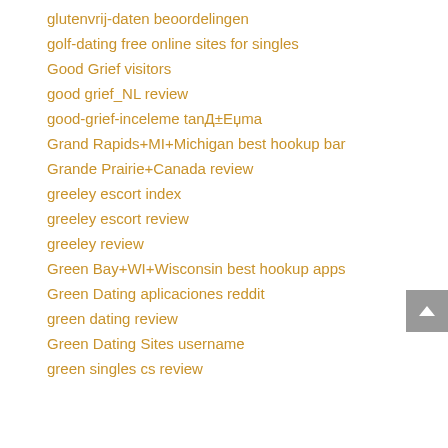glutenvrij-daten beoordelingen
golf-dating free online sites for singles
Good Grief visitors
good grief_NL review
good-grief-inceleme tanД±Еџma
Grand Rapids+MI+Michigan best hookup bar
Grande Prairie+Canada review
greeley escort index
greeley escort review
greeley review
Green Bay+WI+Wisconsin best hookup apps
Green Dating aplicaciones reddit
green dating review
Green Dating Sites username
green singles cs review